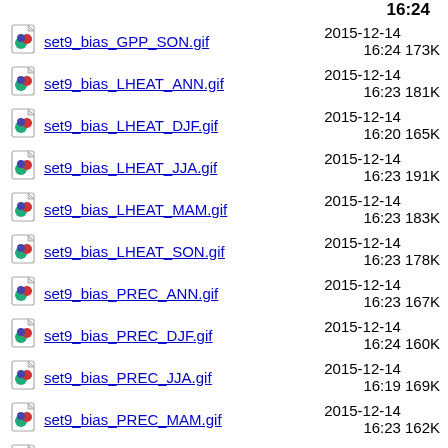set9_bias_GPP_SON.gif  2015-12-14 16:24  173K
set9_bias_LHEAT_ANN.gif  2015-12-14 16:23  181K
set9_bias_LHEAT_DJF.gif  2015-12-14 16:20  165K
set9_bias_LHEAT_JJA.gif  2015-12-14 16:23  191K
set9_bias_LHEAT_MAM.gif  2015-12-14 16:23  183K
set9_bias_LHEAT_SON.gif  2015-12-14 16:23  178K
set9_bias_PREC_ANN.gif  2015-12-14 16:23  167K
set9_bias_PREC_DJF.gif  2015-12-14 16:24  160K
set9_bias_PREC_JJA.gif  2015-12-14 16:19  169K
set9_bias_PREC_MAM.gif  2015-12-14 16:23  162K
set9_bias_PREC_SON.gif  2015-12-14 16:24  165K